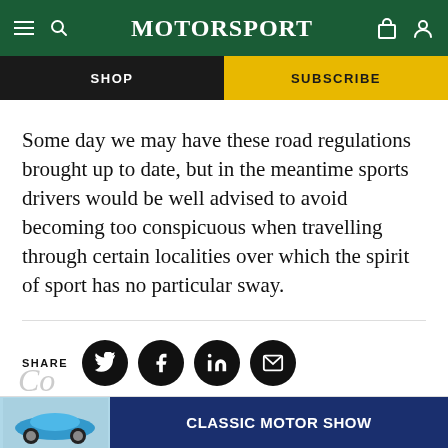Motor Sport
SHOP | SUBSCRIBE
Some day we may have these road regulations brought up to date, but in the meantime sports drivers would be well advised to avoid becoming too conspicuous when travelling through certain localities over which the spirit of sport has no particular sway.
[Figure (infographic): Share row with Twitter, Facebook, LinkedIn, and Email circular icon buttons]
[Figure (infographic): Advertisement banner: Classic Motor Show with a blue Porsche 911 car image]